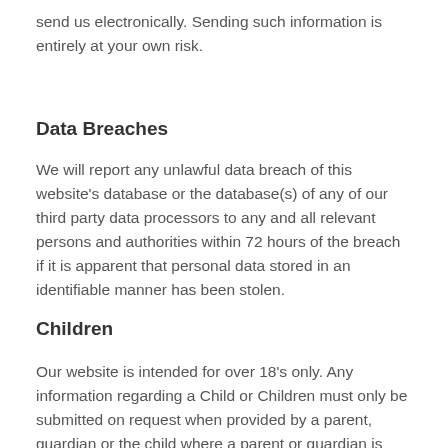send us electronically. Sending such information is entirely at your own risk.
Data Breaches
We will report any unlawful data breach of this website's database or the database(s) of any of our third party data processors to any and all relevant persons and authorities within 72 hours of the breach if it is apparent that personal data stored in an identifiable manner has been stolen.
Children
Our website is intended for over 18's only. Any information regarding a Child or Children must only be submitted on request when provided by a parent, guardian or the child where a parent or guardian is present. Any information requested is always kept strictly to a minimum for us to